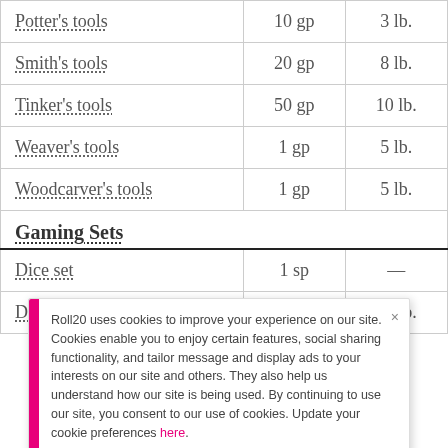| Item | Cost | Weight |
| --- | --- | --- |
| Potter's tools | 10 gp | 3 lb. |
| Smith's tools | 20 gp | 8 lb. |
| Tinker's tools | 50 gp | 10 lb. |
| Weaver's tools | 1 gp | 5 lb. |
| Woodcarver's tools | 1 gp | 5 lb. |
| Gaming Sets |  |  |
| Dice set | 1 sp | — |
| Dulcimer | 25 gp | 10 lb. |
Roll20 uses cookies to improve your experience on our site. Cookies enable you to enjoy certain features, social sharing functionality, and tailor message and display ads to your interests on our site and others. They also help us understand how our site is being used. By continuing to use our site, you consent to our use of cookies. Update your cookie preferences here.